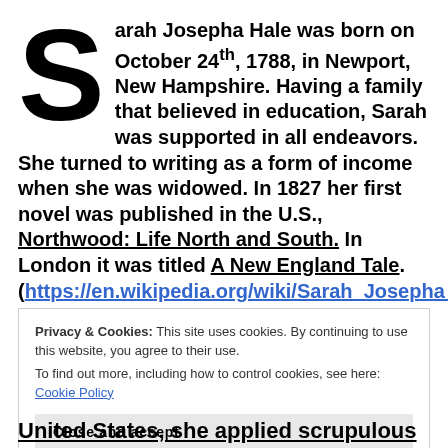Sarah Josepha Hale was born on October 24th, 1788, in Newport, New Hampshire. Having a family that believed in education, Sarah was supported in all endeavors. She turned to writing as a form of income when she was widowed. In 1827 her first novel was published in the U.S., Northwood: Life North and South. In London it was titled A New England Tale. (https://en.wikipedia.org/wiki/Sarah_Josepha_Hale, n.d.)
Privacy & Cookies: This site uses cookies. By continuing to use this website, you agree to their use. To find out more, including how to control cookies, see here: Cookie Policy
United States, she applied scrupulous